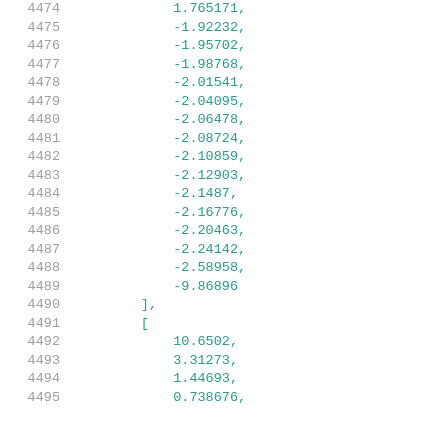Code listing lines 4474-4495 showing array data with line numbers. Lines 4474-4489 show negative decimal values ending with commas, line 4490 shows ], line 4491 shows [, lines 4492-4495 show positive decimal values.